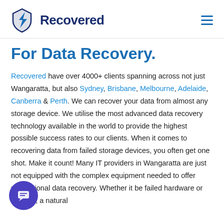Recovered
For Data Recovery.
Recovered have over 4000+ clients spanning across not just Wangaratta, but also Sydney, Brisbane, Melbourne, Adelaide, Canberra & Perth. We can recover your data from almost any storage device. We utilise the most advanced data recovery technology available in the world to provide the highest possible success rates to our clients. When it comes to recovering data from failed storage devices, you often get one shot. Make it count! Many IT providers in Wangaratta are just not equipped with the complex equipment needed to offer professional data recovery. Whether it be failed hardware or devices, a natural